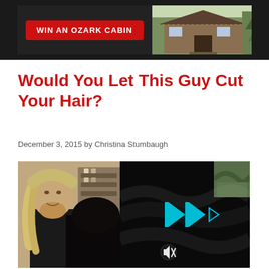[Figure (photo): Advertisement banner: red button reading 'WIN AN OZARK CABIN' on dark background, with cabin photo on right side]
Would You Let This Guy Cut Your Hair?
December 3, 2015 by Christina Stumbaugh
[Figure (screenshot): Video thumbnail showing a long-haired bearded man in a salon cutting hair, with a video player overlay showing forward skip icons and a mute icon, dark stylized overlay on right side]